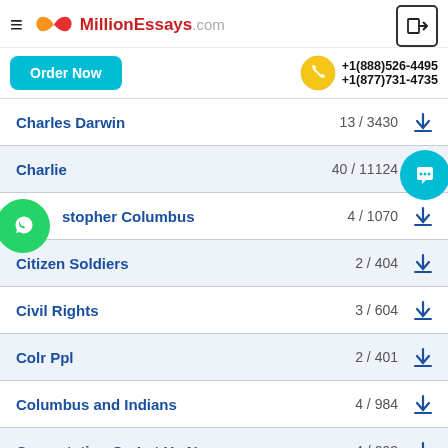[Figure (logo): MillionEssays.com logo with infinity symbol in orange/red gradient and hamburger menu icon]
+1(888)526-4495 +1(877)731-4735
Order Now
| Title | Count | Download |
| --- | --- | --- |
| Charles Darwin | 13 / 3430 | ↓ |
| Charlie | 40 / 11124 | ↓ |
| Christopher Columbus | 4 / 1070 | ↓ |
| Citizen Soldiers | 2 / 404 | ↓ |
| Civil Rights | 3 / 604 | ↓ |
| Colr Ppl | 2 / 401 | ↓ |
| Columbus and Indians | 4 / 984 | ↓ |
| Comentation On Let Us Now | 4 / 093 | ↓ |